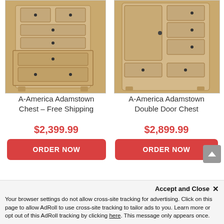[Figure (photo): Photo of A-America Adamstown Chest, a tall wooden dresser with multiple drawers in natural wood finish]
[Figure (photo): Photo of A-America Adamstown Double Door Chest, a tall wooden armoire with double doors and drawers in natural wood finish]
A-America Adamstown Chest – Free Shipping
$2,399.99
ORDER NOW
A-America Adamstown Double Door Chest
$2,899.99
ORDER NOW
Accept and Close ✕
Your browser settings do not allow cross-site tracking for advertising. Click on this page to allow AdRoll to use cross-site tracking to tailor ads to you. Learn more or opt out of this AdRoll tracking by clicking here. This message only appears once.